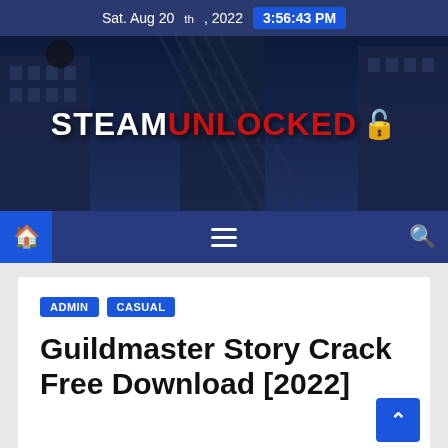Sat. Aug 20th, 2022  3:56:43 PM
[Figure (logo): SteamUnlocked banner logo with city building background, showing STEAM in white and UNLOCKED in red with a lock icon]
[Figure (screenshot): Navigation bar with home icon button, hamburger menu, and search icon on dark blue background]
ADMIN  CASUAL
Guildmaster Story Crack Free Download [2022]